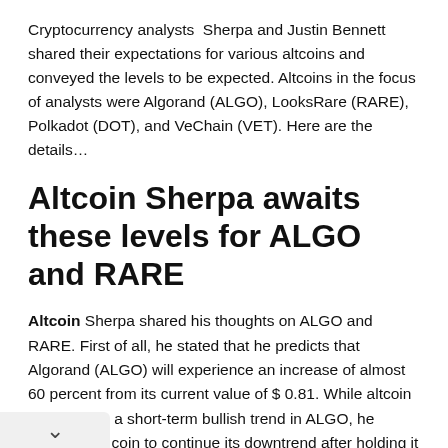Cryptocurrency analysts Sherpa and Justin Bennett shared their expectations for various altcoins and conveyed the levels to be expected. Altcoins in the focus of analysts were Algorand (ALGO), LooksRare (RARE), Polkadot (DOT), and VeChain (VET). Here are the details…
Altcoin Sherpa awaits these levels for ALGO and RARE
Altcoin Sherpa shared his thoughts on ALGO and RARE. First of all, he stated that he predicts that Algorand (ALGO) will experience an increase of almost 60 percent from its current value of $ 0.81. While altcoin Sherpa is in a short-term bullish trend in ALGO, he expects the coin to continue its downtrend after holding it at $1.29.